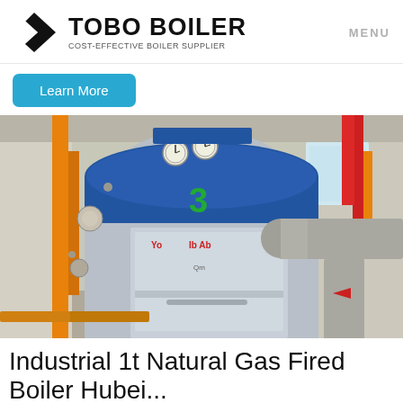TOBO BOILER COST-EFFECTIVE BOILER SUPPLIER | MENU
Learn More
[Figure (photo): Industrial boiler room with a large cylindrical natural gas fired boiler (labeled '3') in silver/stainless finish with blue top, surrounded by orange and red pipes and various fittings and gauges.]
Industrial 1t Natural Gas Fired Boiler Hubei...